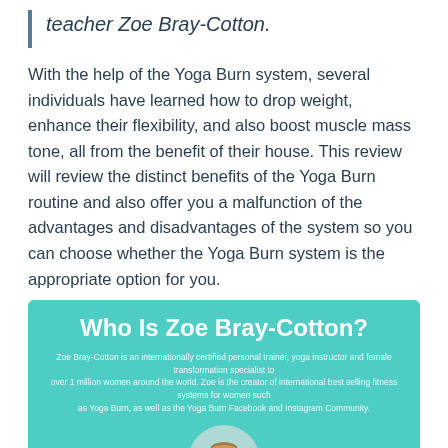teacher Zoe Bray-Cotton.
With the help of the Yoga Burn system, several individuals have learned how to drop weight, enhance their flexibility, and also boost muscle mass tone, all from the benefit of their house. This review will review the distinct benefits of the Yoga Burn routine and also offer you a malfunction of the advantages and disadvantages of the system so you can choose whether the Yoga Burn system is the appropriate option for you.
[Figure (infographic): Teal box with heading 'Who Is Zoe Bray-Cotton?' and descriptive text about Zoe Bray-Cotton being an internationally certified personal trainer, yoga instructor and female transformation specialist to over 1 million women around the world, creator of international best selling fitness systems. A circular portrait photo of Zoe Bray-Cotton (blonde woman) is partially visible at the bottom.]